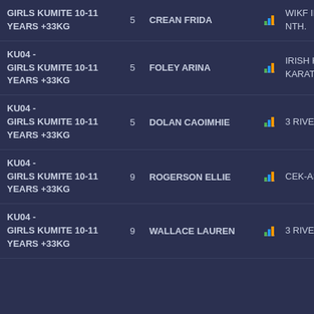| Category | Rank | Name | Icon | Club | Flag |
| --- | --- | --- | --- | --- | --- |
| GIRLS KUMITE 10-11 YEARS +33KG | 5 | CREAN FRIDA | [chart] | WIKF IRELAND NTH. | [flag] |
| KU04 - GIRLS KUMITE 10-11 YEARS +33KG | 5 | FOLEY ARINA | [chart] | IRISH KENPO KARATE UNION | [flag] |
| KU04 - GIRLS KUMITE 10-11 YEARS +33KG | 5 | DOLAN CAOIMHIE | [chart] | 3 RIVERS | [flag] |
| KU04 - GIRLS KUMITE 10-11 YEARS +33KG | 9 | ROGERSON ELLIE | [chart] | CEK-ASSOCIATION | [arrow+flag] |
| KU04 - GIRLS KUMITE 10-11 YEARS +33KG | 9 | WALLACE LAUREN | [chart] | 3 RIVERS | [flag] |